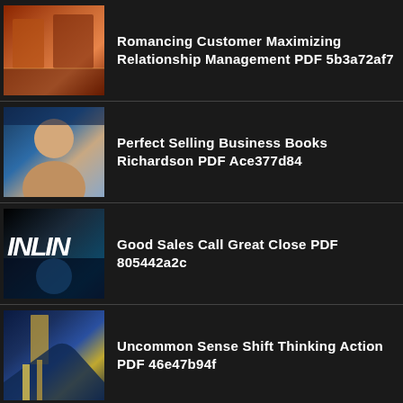Romancing Customer Maximizing Relationship Management PDF 5b3a72af7
Perfect Selling Business Books Richardson PDF Ace377d84
Good Sales Call Great Close PDF 805442a2c
Uncommon Sense Shift Thinking Action PDF 46e47b94f
ARCHIVES
August 2022 (40)
July 2022 (40)